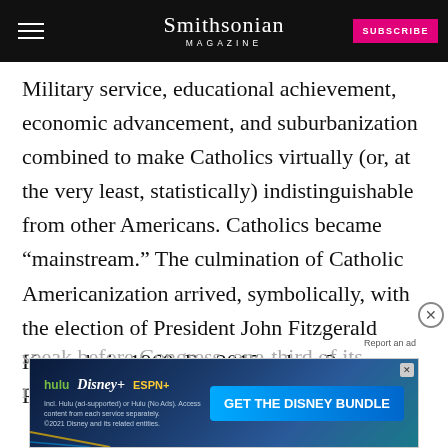Smithsonian MAGAZINE
Military service, educational achievement, economic advancement, and suburbanization combined to make Catholics virtually (or, at the very least, statistically) indistinguishable from other Americans. Catholics became “mainstream.” The culmination of Catholic Americanization arrived, symbolically, with the election of President John Fitzgerald Kennedy in 1960. By 2015, when Pope Francis was invited to speak before Congress, one-third of its members were
[Figure (screenshot): Get the Disney Bundle advertisement banner featuring Hulu, Disney+, and ESPN+ logos]